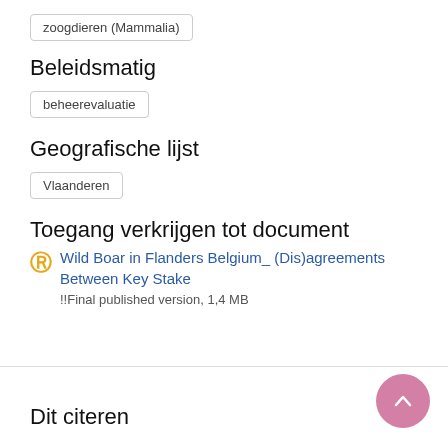zoogdieren (Mammalia)
Beleidsmatig
beheerevaluatie
Geografische lijst
Vlaanderen
Toegang verkrijgen tot document
Wild Boar in Flanders Belgium_ (Dis)agreements Between Key Stake
!!Final published version, 1,4 MB
Dit citeren